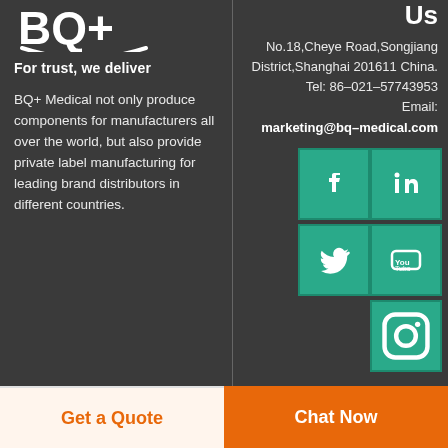[Figure (logo): BQ+ Medical logo in white on dark background]
For trust, we deliver
BQ+ Medical not only produce components for manufacturers all over the world, but also provide private label manufacturing for leading brand distributors in different countries.
Us
No.18,Cheye Road,Songjiang District,Shanghai 201611 China. Tel: 86–021–57743953 Email: marketing@bq-medical.com
[Figure (illustration): Social media icons: Facebook, LinkedIn, Twitter, YouTube, Instagram on teal/green square backgrounds]
Get a Quote
Chat Now